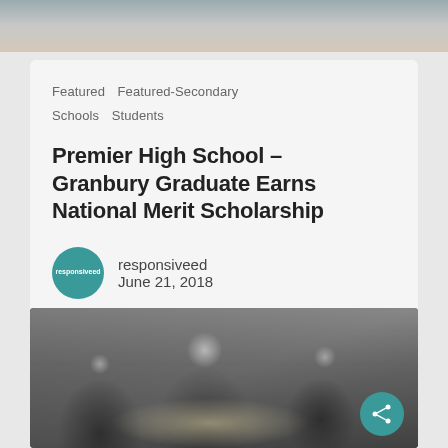[Figure (photo): Partial photo of a person at top of page, cropped]
Featured   Featured-Secondary
Schools   Students
Premier High School – Granbury Graduate Earns National Merit Scholarship
responsiveed
June 21, 2018
[Figure (photo): Photo of students seated at a dining table at an event, smiling and talking]